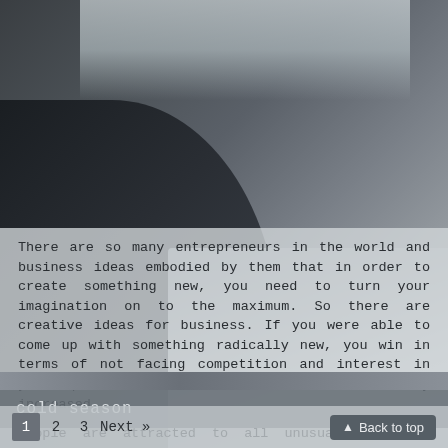[Figure (photo): Blurred background photo showing a dark silhouette (hand/person) in the left foreground, a bright light/window in the upper area, and a keyboard visible in the lower right. Office or desk environment.]
There are so many entrepreneurs in the world and business ideas embodied by them that in order to create something new, you need to turn your imagination on to the maximum. So there are creative ideas for business. If you were able to come up with something radically new, you win in terms of not facing competition and interest in your product or service will be initially increased.
People are attracted to all unusual and non-standard. And if you can still make money on this, then why not do it? We have made for you a selection of creative business ideas that attracted attention in 2014, but in 2015 they will also remain relevant! (more...)
cold season
1  2  3  Next »  ▲ Back to top